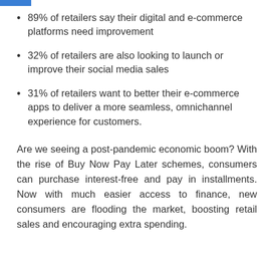89% of retailers say their digital and e-commerce platforms need improvement
32% of retailers are also looking to launch or improve their social media sales
31% of retailers want to better their e-commerce apps to deliver a more seamless, omnichannel experience for customers.
Are we seeing a post-pandemic economic boom? With the rise of Buy Now Pay Later schemes, consumers can purchase interest-free and pay in installments. Now with much easier access to finance, new consumers are flooding the market, boosting retail sales and encouraging extra spending.